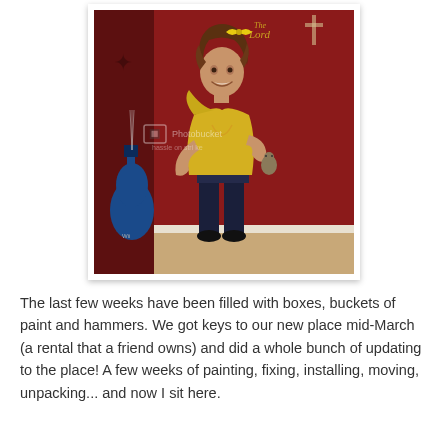[Figure (photo): A young girl with curly hair wearing a yellow off-shoulder top and dark jeans, smiling and holding a small toy/animal. She stands in front of a dark red wall. A blue guitar is visible in the lower left. There is a Photobucket watermark over the image.]
The last few weeks have been filled with boxes, buckets of paint and hammers. We got keys to our new place mid-March (a rental that a friend owns) and did a whole bunch of updating to the place! A few weeks of painting, fixing, installing, moving, unpacking... and now I sit here.